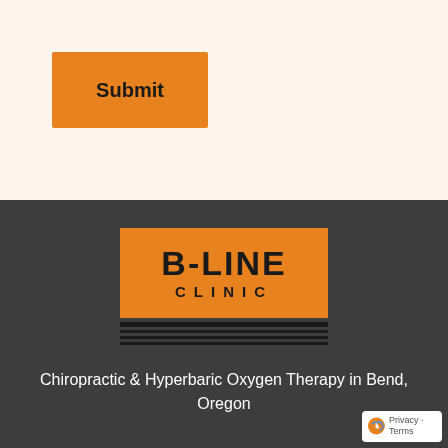Submit
[Figure (logo): B-LINE CLINIC logo: orange rectangle with bold black text 'B-LINE' on top and 'CLINIC' below in spaced letters, followed by horizontal stripe lines beneath the box]
Chiropractic & Hyperbaric Oxygen Therapy in Bend, Oregon